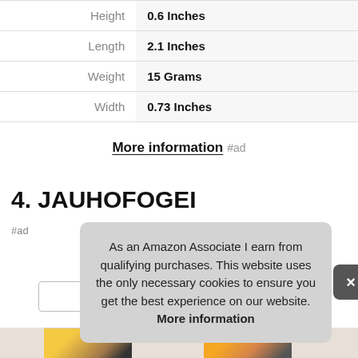| Height | 0.6 Inches |
| Length | 2.1 Inches |
| Weight | 15 Grams |
| Width | 0.73 Inches |
More information #ad
4. JAUHOFOGEI
#ad
As an Amazon Associate I earn from qualifying purchases. This website uses the only necessary cookies to ensure you get the best experience on our website. More information